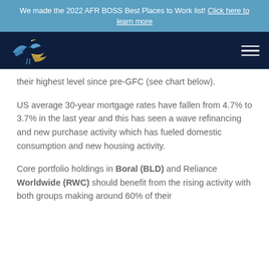We made the 2022 AFR BOSS Best Places to Work list! Click here to learn more
[Figure (logo): Bird/heron logo on dark navy navigation bar with hamburger menu icon]
their highest level since pre-GFC (see chart below).
US average 30-year mortgage rates have fallen from 4.7% to 3.7% in the last year and this has seen a wave refinancing and new purchase activity which has fueled domestic consumption and new housing activity.
Core portfolio holdings in Boral (BLD) and Reliance Worldwide (RWC) should benefit from the rising activity with both groups making around 60% of their